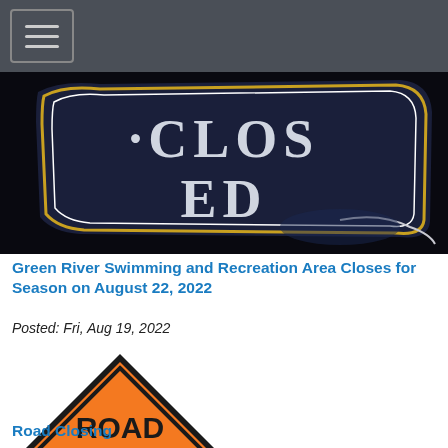Navigation menu
[Figure (photo): Close-up photo of a dark navy 'CLOSED' sign with ornate white lettering and a gold border, on a black background.]
Green River Swimming and Recreation Area Closes for Season on August 22, 2022
Posted: Fri, Aug 19, 2022
[Figure (photo): Orange diamond-shaped road sign with black border reading 'ROAD CLOSED' in bold black capital letters.]
Road Closing